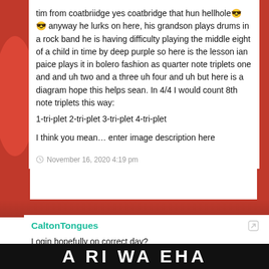tim from coatbriidge yes coatbridge that hun hellhole😎 😎 anyway he lurks on here, his grandson plays drums in a rock band he is having difficulty playing the middle eight of a child in time by deep purple so here is the lesson ian paice plays it in bolero fashion as quarter note triplets one and and uh two and a three uh four and uh but here is a diagram hope this helps sean. In 4/4 I would count 8th note triplets this way:
1-tri-plet 2-tri-plet 3-tri-plet 4-tri-plet
I think you mean… enter image description here
November 16, 2020 4:19 pm
CaltonTongues
Login hopefully on correct day?
HH
November 16, 2020 5:27 pm